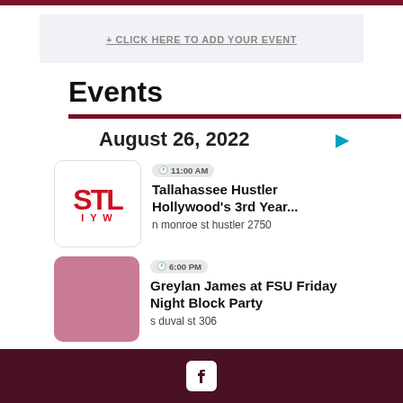+ CLICK HERE TO ADD YOUR EVENT
Events
August 26, 2022
11:00 AM
Tallahassee Hustler Hollywood's 3rd Year...
n monroe st hustler 2750
6:00 PM
Greylan James at FSU Friday Night Block Party
s duval st 306
Facebook icon